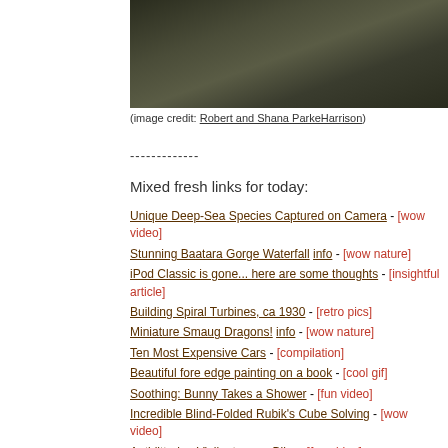[Figure (photo): Dark textured background photo, dark olive/green tones]
(image credit: Robert and Shana ParkeHarrison)
-------------
Mixed fresh links for today:
Unique Deep-Sea Species Captured on Camera - [wow video]
Stunning Baatara Gorge Waterfall info - [wow nature]
iPod Classic is gone... here are some thoughts - [insightful article]
Building Spiral Turbines, ca 1930 - [retro pics]
Miniature Smaug Dragons! info - [wow nature]
Ten Most Expensive Cars - [compilation]
Beautiful fore edge painting on a book - [cool gif]
Soothing: Bunny Takes a Shower - [fun video]
Incredible Blind-Folded Rubik's Cube Solving - [wow video]
Anti-littering Vigilante on a Bike - [fun video]
Ferrets playing in packing peanuts - [fun video]
Rush Hour to the Max! - [wow video]